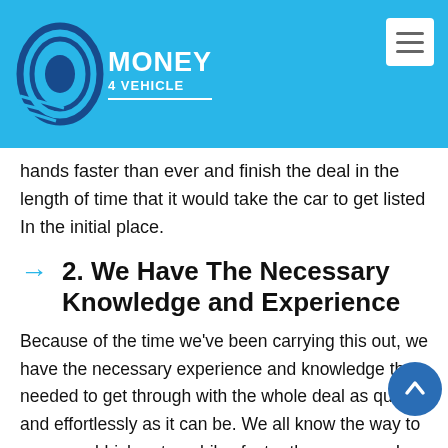Money 4 Vehicle
hands faster than ever and finish the deal in the length of time that it would take the car to get listed In the initial place.
2. We Have The Necessary Knowledge and Experience
Because of the time we've been carrying this out, we have the necessary experience and knowledge that needed to get through with the whole deal as quickly and effortlessly as it can be. We all know the way to assess rubbish automobiles faster than anyone. In fact, we have been doing it for over eleven years. Thus, we'll be able to guarantee a good offer to you in very little time. Because of this, you won't have to sit around awaiting an offer. Our speedy evaluations will let you